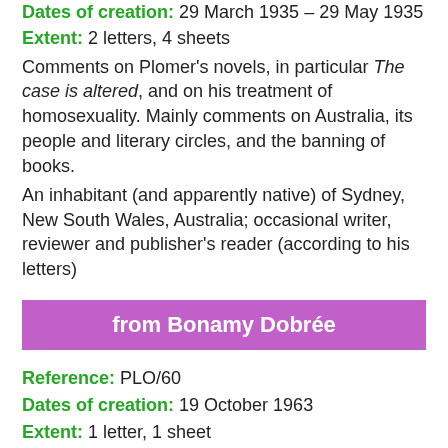Dates of creation: 29 March 1935 – 29 May 1935
Extent: 2 letters, 4 sheets
Comments on Plomer's novels, in particular The case is altered, and on his treatment of homosexuality. Mainly comments on Australia, its people and literary circles, and the banning of books.
An inhabitant (and apparently native) of Sydney, New South Wales, Australia; occasional writer, reviewer and publisher's reader (according to his letters)
from Bonamy Dobrée
Reference: PLO/60
Dates of creation: 19 October 1963
Extent: 1 letter, 1 sheet
Thanking Plomer for his Double lives, and